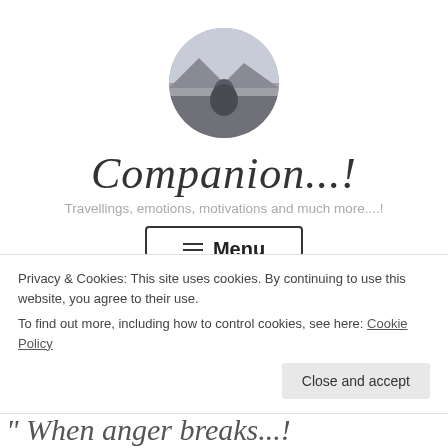[Figure (photo): Circular profile photo showing a person from behind looking at a landscape with mountains/hills in the background, muted tones]
Companion...!
Travellings, emotions, motivations and much more....!
☰ Menu
Privacy & Cookies: This site uses cookies. By continuing to use this website, you agree to their use.
To find out more, including how to control cookies, see here: Cookie Policy
Close and accept
When anger breaks...!